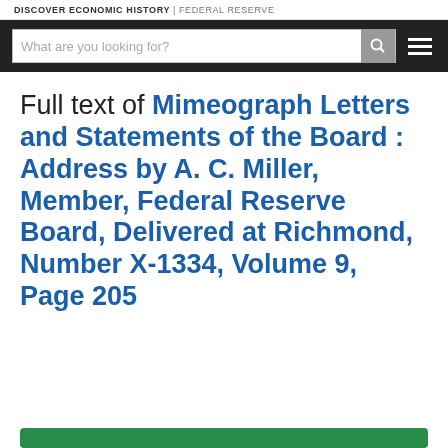DISCOVER ECONOMIC HISTORY | FEDERAL RESERVE
Full text of Mimeograph Letters and Statements of the Board : Address by A. C. Miller, Member, Federal Reserve Board, Delivered at Richmond, Number X-1334, Volume 9, Page 205